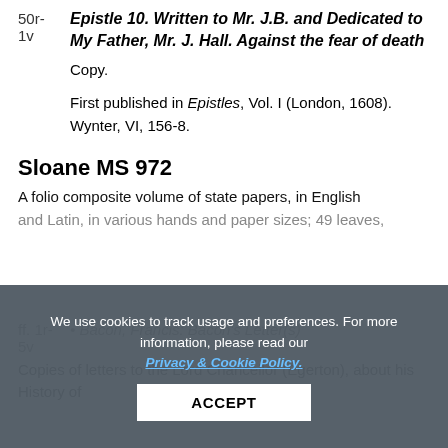50r-1v  Epistle 10. Written to Mr. J.B. and Dedicated to My Father, Mr. J. Hall. Against the fear of death
Copy.
First published in Epistles, Vol. I (London, 1608). Wynter, VI, 156-8.
Sloane MS 972
A folio composite volume of state papers, in English and Latin, in various hands and paper sizes; 49 leaves,
We use cookies to track usage and preferences. For more information, please read our Privacy & Cookie Policy.
ff. 1r-5v  • Bacon, Francis: Bacon's Letter(s)
Copies of letters to the Lord Chancellor (Egerton), about his History of